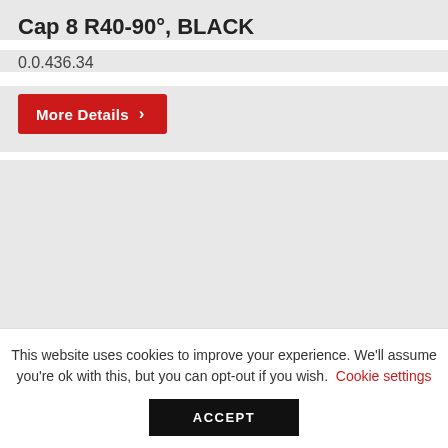Cap 8 R40-90°, BLACK
0.0.436.34
More Details
[Figure (photo): Empty grey image area for product photo]
This website uses cookies to improve your experience. We'll assume you're ok with this, but you can opt-out if you wish. Cookie settings
ACCEPT